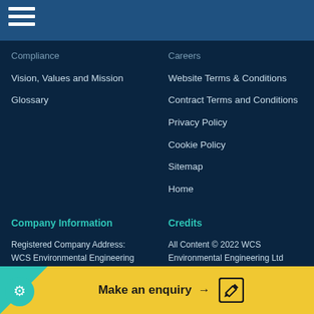Compliance
Careers
Vision, Values and Mission
Website Terms & Conditions
Glossary
Contract Terms and Conditions
Privacy Policy
Cookie Policy
Sitemap
Home
Company Information
Credits
Registered Company Address:
WCS Environmental Engineering Ltd
C/O Marlowe Plc
20, Grosvenor Place
London
All Content © 2022 WCS Environmental Engineering Ltd

Created by Eleven Miles
Make an enquiry →